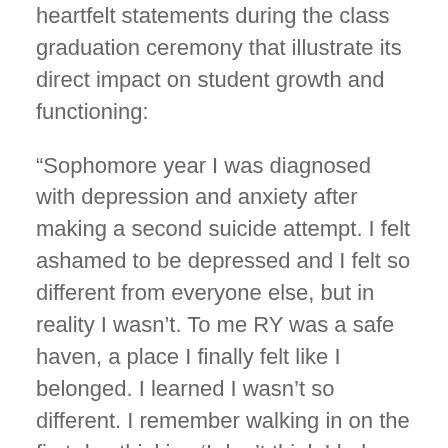heartfelt statements during the class graduation ceremony that illustrate its direct impact on student growth and functioning:
“Sophomore year I was diagnosed with depression and anxiety after making a second suicide attempt. I felt ashamed to be depressed and I felt so different from everyone else, but in reality I wasn’t. To me RY was a safe haven, a place I finally felt like I belonged. I learned I wasn’t so different. I remember walking in on the first day thinking ‘I don’t think I belong here,’ but boy was I wrong! My classmates taught me that they go home and cried, that they...